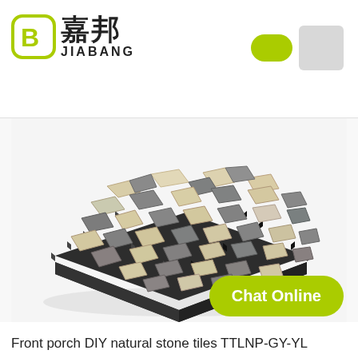[Figure (logo): Jiabang brand logo with circular 'B' icon in green, Chinese characters 嘉邦, and English text JIABANG]
[Figure (photo): Front porch DIY natural stone interlocking tile on black plastic base, showing mix of gray and cream/beige natural stone pieces in irregular pebble shapes, viewed from above at an angle]
[Figure (other): Yellow pill-shaped color swatch and gray square color swatch in top right corner]
Chat Online
Front porch DIY natural stone tiles TTLNP-GY-YL